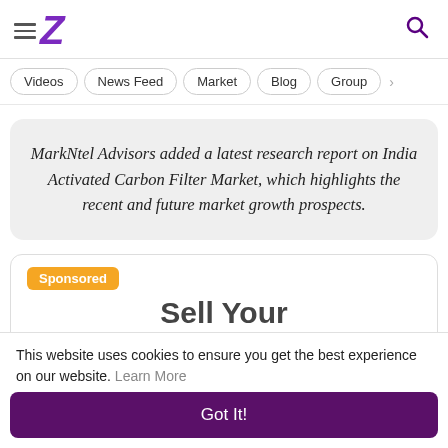Z (Zeebiz logo)
Videos | News Feed | Market | Blog | Group
MarkNtel Advisors added a latest research report on India Activated Carbon Filter Market, which highlights the recent and future market growth prospects.
Sponsored — Sell Your
This website uses cookies to ensure you get the best experience on our website. Learn More
Got It!